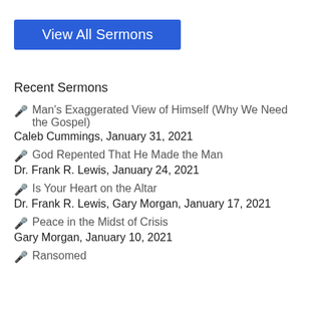View All Sermons
Recent Sermons
🎤 Man's Exaggerated View of Himself (Why We Need the Gospel) — Caleb Cummings, January 31, 2021
🎤 God Repented That He Made the Man — Dr. Frank R. Lewis, January 24, 2021
🎤 Is Your Heart on the Altar — Dr. Frank R. Lewis, Gary Morgan, January 17, 2021
🎤 Peace in the Midst of Crisis — Gary Morgan, January 10, 2021
🎤 Ransomed